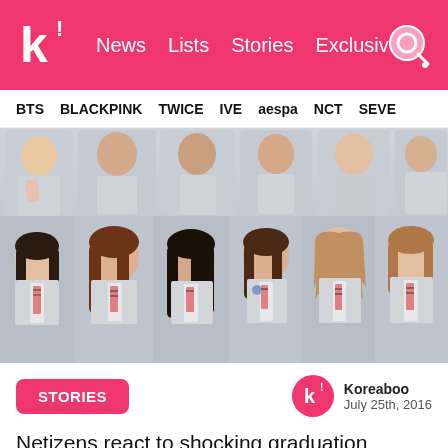k! News Lists Stories Exclusives
BTS BLACKPINK TWICE IVE aespa NCT SEVE
[Figure (photo): Group photo of IOI girl group members wearing school uniforms (grey blazers with plaid ties), shown in two rows - partial top row and full bottom row of six members visible.]
STORIES
Koreaboo
July 25th, 2016
Netizens react to shocking graduation photos of IOI member Choi Yoojung.
Earlier, we reported that final eleven members